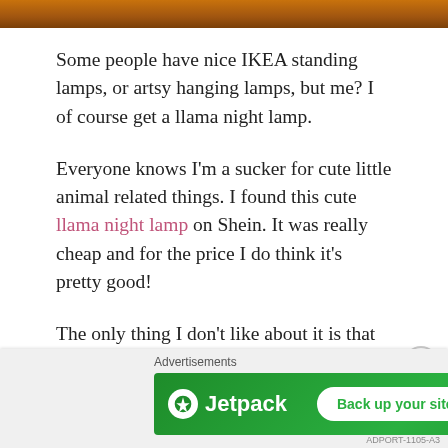[Figure (photo): Partial image at top of page with warm orange-brown tones, appears to show a scene with warm lighting]
Some people have nice IKEA standing lamps, or artsy hanging lamps, but me? I of course get a llama night lamp.
Everyone knows I'm a sucker for cute little animal related things. I found this cute llama night lamp on Shein. It was really cheap and for the price I do think it's pretty good!
The only thing I don't like about it is that it's not a USB device, and it requires three LR44 cell
[Figure (screenshot): Jetpack advertisement banner with green background, Jetpack logo on left and 'Back up your site' button]